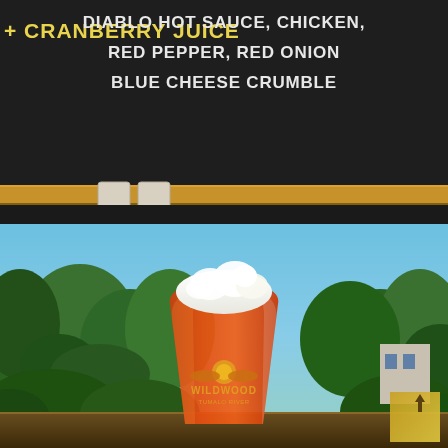[Figure (photo): Top half: chalkboard menu showing food items including 'CRANBERRY JUICE' on the left in yellow chalk and 'DIABLO HOT SAUCE, CHICKEN, RED PEPPER, RED ONION, BLUE CHEESE CRUMBLE' on the right in white chalk. A wooden ledge runs horizontally below the chalkboard with two white chalk erasers resting on it.]
[Figure (photo): Bottom half: outdoor photo of a Wildwood brewery pint glass filled with bright orange-red beer topped with white foam, set against a background of green trees and blue sky. The Wildwood logo (sun/eagle emblem) appears in orange on the glass. A small gold square with an upward arrow appears in the bottom right corner.]